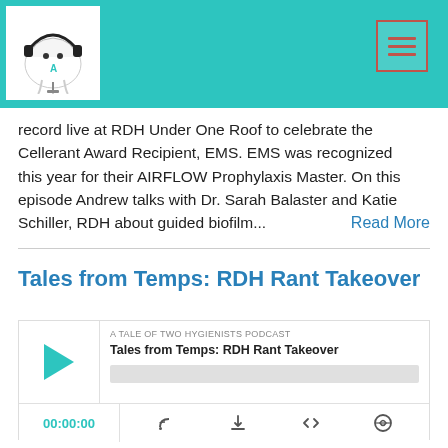[Figure (logo): A Tale of Two Hygienists podcast logo — tooth character wearing headphones]
record live at RDH Under One Roof to celebrate the Cellerant Award Recipient, EMS. EMS was recognized this year for their AIRFLOW Prophylaxis Master. On this episode Andrew talks with Dr. Sarah Balaster and Katie Schiller, RDH about guided biofilm...
Read More
Tales from Temps: RDH Rant Takeover
[Figure (screenshot): Podcast player widget for 'Tales from Temps: RDH Rant Takeover' on A Tale of Two Hygienists Podcast, showing play button, episode title, progress bar, time 00:00:00, and media control icons]
Aug 19, 2022
Join us for another RDH Rant take over episode! We are